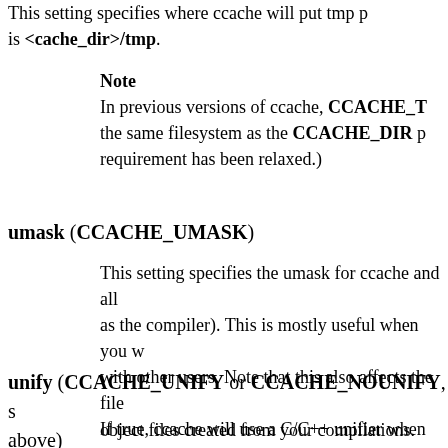This setting specifies where ccache will put tmp p... is <cache_dir>/tmp.
Note
In previous versions of ccache, CCACHE_T... the same filesystem as the CCACHE_DIR p... requirement has been relaxed.)
umask (CCACHE_UMASK)
This setting specifies the umask for ccache and all... as the compiler). This is mostly useful when you w... with other users. Note that this also affects the file... object files created from your compilations.
unify (CCACHE_UNIFY or CCACHE_NOUNIFY, s... above)
If true, ccache will use a C/C++ unifier when hash... output if the -g option is not used. The unifier is slo... hash, so setting this environment variable loses a li...